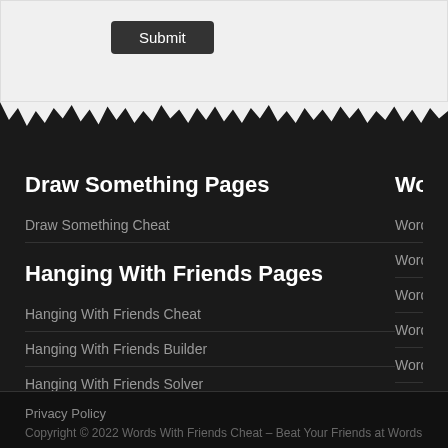Submit
Draw Something Pages
Draw Something Cheat
Hanging With Friends Pages
Hanging With Friends Cheat
Hanging With Friends Builder
Hanging With Friends Solver
Hanging With Friends Dictionary
Hanging With Friends Word Builder
Hanging With Friends Word Generator
Words With Frie…
Words With Friends Chea…
Words With Friends Dicti…
Words With Friends Help…
Words With Friends Wor…
Words With Friends Gen…
Words With Friends Wor…
Privacy Policy
Copyright © 2022 Words With Friends Cheat – Beat Your Friends at Words With…